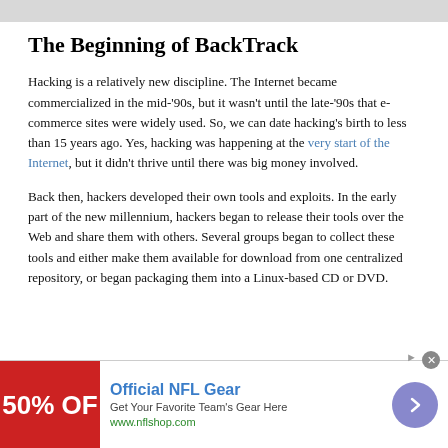The Beginning of BackTrack
Hacking is a relatively new discipline. The Internet became commercialized in the mid-'90s, but it wasn't until the late-'90s that e-commerce sites were widely used. So, we can date hacking's birth to less than 15 years ago. Yes, hacking was happening at the very start of the Internet, but it didn't thrive until there was big money involved.
Back then, hackers developed their own tools and exploits. In the early part of the new millennium, hackers began to release their tools over the Web and share them with others. Several groups began to collect these tools and either make them available for download from one centralized repository, or began packaging them into a Linux-based CD or DVD.
[Figure (infographic): Advertisement banner: Official NFL Gear - Get Your Favorite Team's Gear Here - www.nflshop.com - Red background with '50% OF' text, blue arrow button on right, close button at top.]